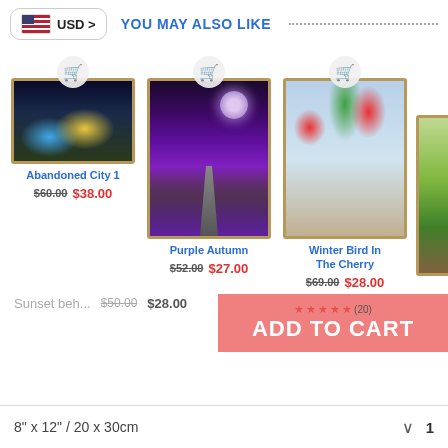USD >
YOU MAY ALSO LIKE
[Figure (photo): Abandoned City 1 - fantasy cityscape painting with warm lights]
Abandoned City 1
$60.00 $38.00
[Figure (photo): Purple Autumn - purple forest road with full moon]
Purple Autumn
$52.00 $27.00
[Figure (photo): Winter Bird In The Cherry - two birds on cherry branches in winter]
Winter Bird In The Cherry
$69.00 $28.00
[Figure (photo): Partial fourth product image]
Sunset beh...
$50.00 $28.00
★★★★★ (20) ADD TO CART
8" x 12" / 20 x 30cm  1